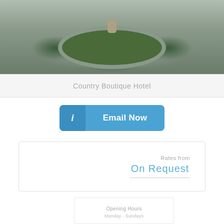[Figure (photo): Aerial or ground-level photo of a garden with an oval-shaped green garden bed, decorative urn/fountain in the center, surrounding trees, and stone/concrete borders. Outdoor hotel garden scene.]
Country Boutique Hotel
Email Now
Rates from
On Request
Opening Hours
Monday - Sundays